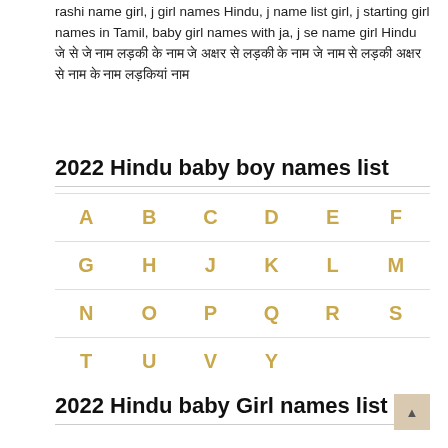rashi name girl, j girl names Hindu, j name list girl, j starting girl names in Tamil, baby girl names with ja, j se name girl Hindu जे से जे नाम लड़की के नाम जे अक्षर से लड़की के नाम जे नाम से लड़की अक्षर से नाम के नाम लड़कियां नाम
2022 Hindu baby boy names list
| A | B | C | D | E | F |
| G | H | J | K | L | M |
| N | O | P | Q | R | S |
| T | U | V | Y |  |  |
2022 Hindu baby Girl names list